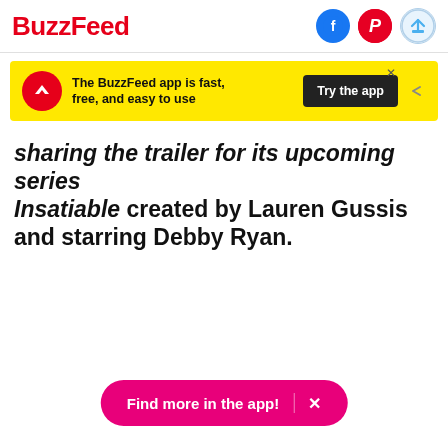BuzzFeed
[Figure (infographic): BuzzFeed app advertisement banner with yellow background, red BuzzFeed icon, text 'The BuzzFeed app is fast, free, and easy to use' and a 'Try the app' button]
sharing the trailer for its upcoming series Insatiable created by Lauren Gussis and starring Debby Ryan.
Find more in the app!